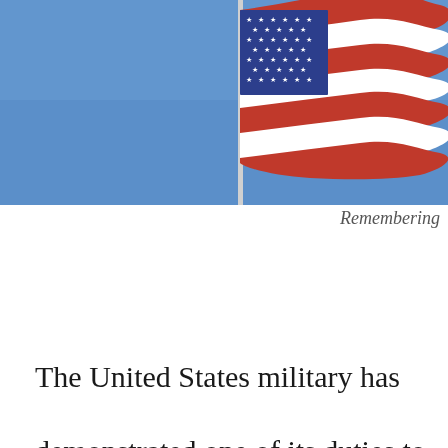[Figure (photo): American flag waving on a flagpole against a clear blue sky]
Remembering
The United States military has demonstrated one of its duties to Americans and Afghans who supported U.S. forces. This task resulted in the loss of thirteen soldiers. This is not the first time Americans and those citizens that supported us. This happened, evacuation of soldiers and people who assisted us occurred. differences between Vietnam and Afghanistan. The Taliban a the North Vietnamese were led by a popular revolutionary. D were protests on college campuses and soldiers were spit up don't recall any protests about the war in the twenty years U The soldiers who died in the attack on the Kabul airport wer